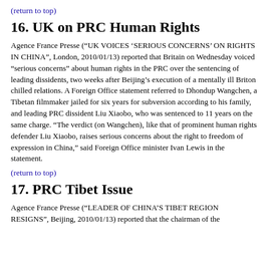(return to top)
16. UK on PRC Human Rights
Agence France Presse (“UK VOICES ‘SERIOUS CONCERNS’ ON RIGHTS IN CHINA”, London, 2010/01/13) reported that Britain on Wednesday voiced “serious concerns” about human rights in the PRC over the sentencing of leading dissidents, two weeks after Beijing’s execution of a mentally ill Briton chilled relations. A Foreign Office statement referred to Dhondup Wangchen, a Tibetan filmmaker jailed for six years for subversion according to his family, and leading PRC dissident Liu Xiaobo, who was sentenced to 11 years on the same charge. “The verdict (on Wangchen), like that of prominent human rights defender Liu Xiaobo, raises serious concerns about the right to freedom of expression in China,” said Foreign Office minister Ivan Lewis in the statement.
(return to top)
17. PRC Tibet Issue
Agence France Presse (“LEADER OF CHINA’S TIBET REGION RESIGNS”, Beijing, 2010/01/13) reported that the chairman of the